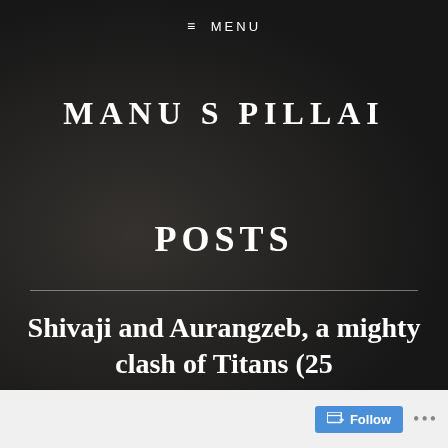≡ MENU
MANU S PILLAI
POSTS
Shivaji and Aurangzeb, a mighty clash of Titans (25